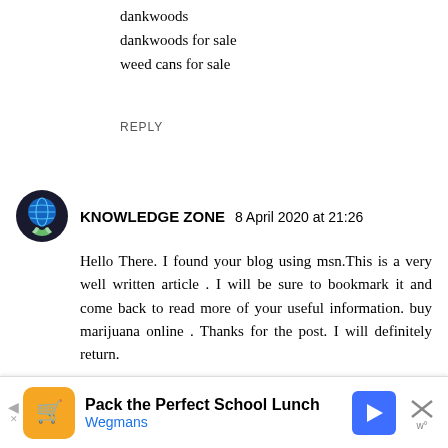dankwoods
dankwoods for sale
weed cans for sale
REPLY
KNOWLEDGE ZONE  8 April 2020 at 21:26
Hello There. I found your blog using msn.This is a very well written article . I will be sure to bookmark it and come back to read more of your useful information. buy marijuana online . Thanks for the post. I will definitely return.
marijuana for sale
vape pen for sale
buy marijuana online usa
buy marijuana online
buy weed online usa
buy weed online
marijuana for sale
order weed online
[Figure (screenshot): Advertisement banner for Wegmans: Pack the Perfect School Lunch]